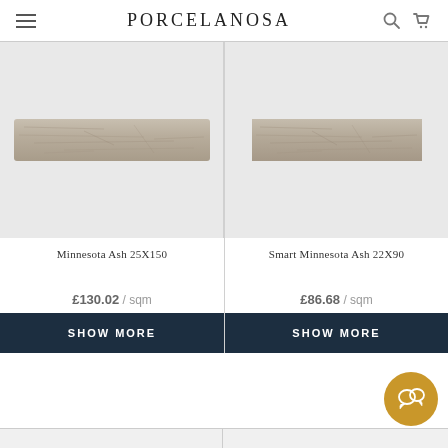PORCELANOSA
[Figure (photo): Minnesota Ash 25X150 wood-look tile product image on grey background]
[Figure (photo): Smart Minnesota Ash 22X90 wood-look tile product image on grey background]
Minnesota Ash 25X150
Smart Minnesota Ash 22X90
£130.02 / sqm
£86.68 / sqm
SHOW MORE
SHOW MORE